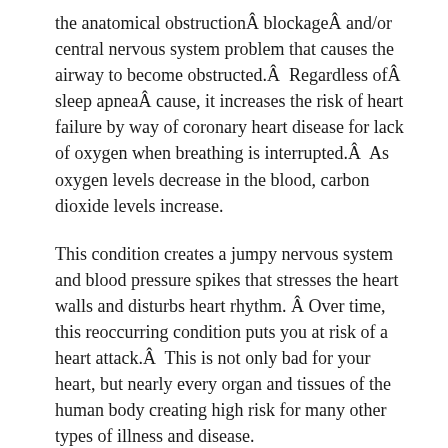the anatomical obstructionÂ blockageÂ and/or central nervous system problem that causes the airway to become obstructed.Â  Regardless ofÂ sleep apneaÂ cause, it increases the risk of heart failure by way of coronary heart disease for lack of oxygen when breathing is interrupted.Â  As oxygen levels decrease in the blood, carbon dioxide levels increase.
This condition creates a jumpy nervous system and blood pressure spikes that stresses the heart walls and disturbs heart rhythm. Â Over time, this reoccurring condition puts you at risk of a heart attack.Â  This is not only bad for your heart, but nearly every organ and tissues of the human body creating high risk for many other types of illness and disease.
Okay, letâs break this down a little bit more so we can really understand the mechanics of how obstruction occurs.Â As the soft palate at the back of the throat collapses during sleep those that suffer from sleep apnea begin to snore and